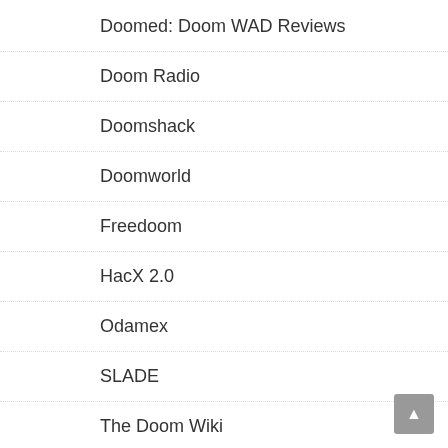Doomed: Doom WAD Reviews
Doom Radio
Doomshack
Doomworld
Freedoom
HacX 2.0
Odamex
SLADE
The Doom Wiki
Zandronum
ZDoom
FRIENDS
Cage
Coding Buff
Derekmd
digitaleidoscope